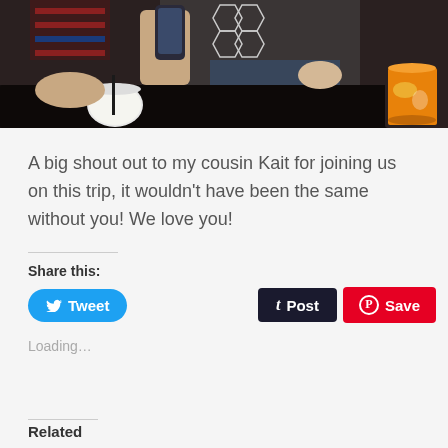[Figure (photo): Photo of people sitting at a dark table with drinks, including a white drink and an orange/yellow drink in glasses]
A big shout out to my cousin Kait for joining us on this trip, it wouldn't have been the same without you! We love you!
Share this:
[Figure (infographic): Social share buttons: Tweet (blue/Twitter), Post (dark/Tumblr), Save (red/Pinterest)]
Loading...
Related